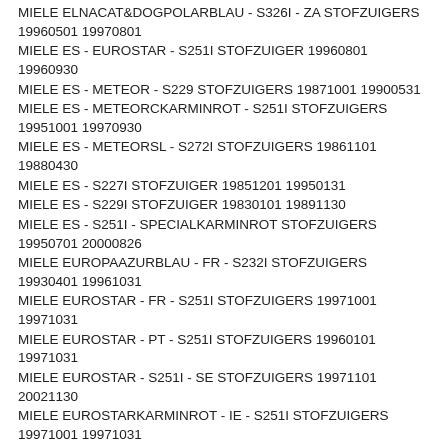MIELE ELNACAT&DOGPOLARBLAU - S326I - ZA STOFZUIGERS 19960501 19970801
MIELE ES - EUROSTAR - S251I STOFZUIGER 19960801 19960930
MIELE ES - METEOR - S229 STOFZUIGERS 19871001 19900531
MIELE ES - METEORCKARMINROT - S251I STOFZUIGERS 19951001 19970930
MIELE ES - METEORSL - S272I STOFZUIGERS 19861101 19880430
MIELE ES - S227I STOFZUIGER 19851201 19950131
MIELE ES - S229I STOFZUIGER 19830101 19891130
MIELE ES - S251I - SPECIALKARMINROT STOFZUIGERS 19950701 20000826
MIELE EUROPAAZURBLAU - FR - S232I STOFZUIGERS 19930401 19961031
MIELE EUROSTAR - FR - S251I STOFZUIGERS 19971001 19971031
MIELE EUROSTAR - PT - S251I STOFZUIGERS 19960101 19971031
MIELE EUROSTAR - S251I - SE STOFZUIGERS 19971101 20021130
MIELE EUROSTARKARMINROT - IE - S251I STOFZUIGERS 19971001 19971031
MIELE EUROSTARKARMINROT - NO - S248I STOFZUIGERS